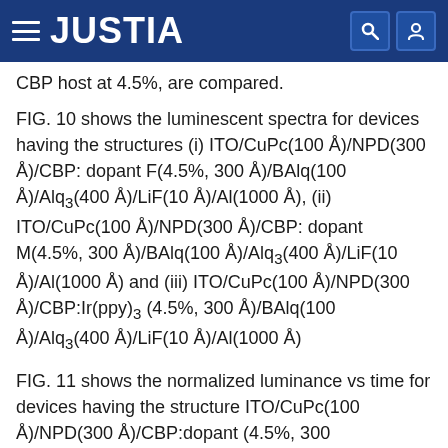JUSTIA
CBP host at 4.5%, are compared.
FIG. 10 shows the luminescent spectra for devices having the structures (i) ITO/CuPc(100 Å)/NPD(300 Å)/CBP: dopant F(4.5%, 300 Å)/BAlq(100 Å)/Alq3(400 Å)/LiF(10 Å)/Al(1000 Å), (ii) ITO/CuPc(100 Å)/NPD(300 Å)/CBP: dopant M(4.5%, 300 Å)/BAlq(100 Å)/Alq3(400 Å)/LiF(10 Å)/Al(1000 Å) and (iii) ITO/CuPc(100 Å)/NPD(300 Å)/CBP:Ir(ppy)3 (4.5%, 300 Å)/BAlq(100 Å)/Alq3(400 Å)/LiF(10 Å)/Al(1000 Å)
FIG. 11 shows the normalized luminance vs time for devices having the structure ITO/CuPc(100 Å)/NPD(300 Å)/CBP:dopant (4.5%, 300 Å)/BAlq(100 Å)/Alq3(400 Å)/LiF(10 Å)/Al(1000 Å) in which 2 hexadentate linked emissive dopants, Dopant F and Dopant M and unlinked dopant Ir(ppy)3 doped into the CBP host at 4.5%, are